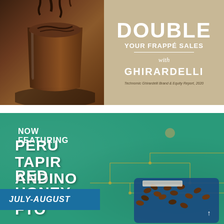[Figure (photo): Chocolate frappé drink in a glass with chocolate drizzle on top, dark background, left half of top panel]
DOUBLE YOUR FRAPPÉ SALES with GHIRARDELLI
Technomic Ghirardelli Brand & Equity Report, 2020
[Figure (photo): Promotional banner for Peru Tapir Andino Red Honey FTO coffee featuring teal/green textured background with gold circuit-board style lines, coffee beans in a blue tray, and a July-August availability banner]
NOW FEATURING PERU TAPIR ANDINO RED HONEY FTO
JULY-AUGUST